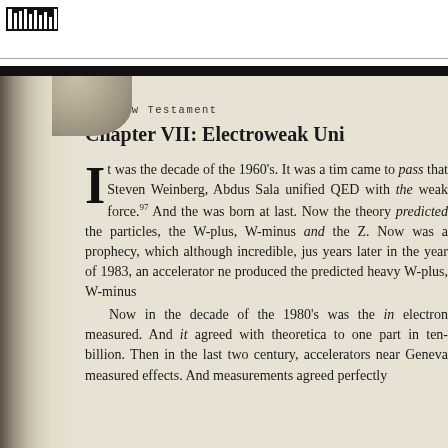[Figure (logo): Small black and white logo/icon at top left]
The New Testament
Chapter VII: Electroweak Uni
It was the decade of the 1960's. It was a time it came to pass that Steven Weinberg, Abdus Salam unified QED with the weak force.97 And the electroweak theory was born at last. Now the theory predicted the existence of particles, the W-plus, W-minus and the Z. Now this was a prophecy, which although incredible, just years later in the year of 1983, an accelerator near Geneva produced the predicted heavy W-plus, W-minus and Z. Now in the decade of the 1980's was the incredible anomalous magnetic moment of the electron measured. And it agreed with theoretical prediction to one part in ten-billion. Then in the last two decades of the century, accelerators near Geneva measured electroweak effects. And measurements agreed perfectly with theory.